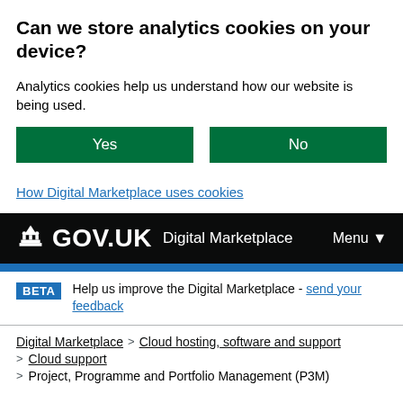Can we store analytics cookies on your device?
Analytics cookies help us understand how our website is being used.
Yes | No (buttons)
How Digital Marketplace uses cookies
GOV.UK Digital Marketplace Menu
BETA Help us improve the Digital Marketplace - send your feedback
Digital Marketplace > Cloud hosting, software and support > Cloud support > Project, Programme and Portfolio Management (P3M)
SA Group Ltd